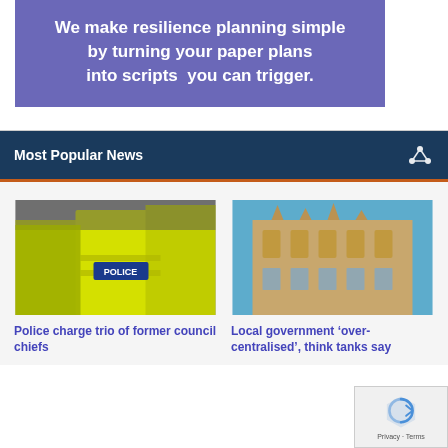We make resilience planning simple by turning your paper plans into scripts  you can trigger.
Most Popular News
[Figure (photo): Police officers in yellow high-visibility jackets with POLICE written on the back, seen from behind in a crowd]
Police charge trio of former council chiefs
[Figure (photo): Looking up at a Gothic-style stone building against a bright blue sky]
Local government ‘over-centralised’, think tanks say